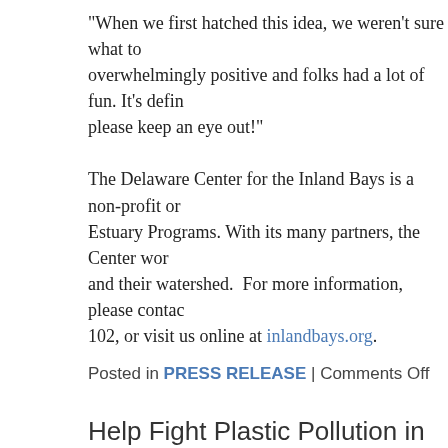“When we first hatched this idea, we weren’t sure what to overwhelmingly positive and folks had a lot of fun. It’s defin please keep an eye out!”
The Delaware Center for the Inland Bays is a non-profit or Estuary Programs. With its many partners, the Center wor and their watershed. For more information, please contac 102, or visit us online at inlandbays.org.
Posted in PRESS RELEASE | Comments Off
Help Fight Plastic Pollution in the Inland Bays o
Indian River Inlet – The Delaware Center for the Inland Ba 15th Annual Inland Bays Clean Up! This event will be held the shores along Rehoboth and Indian River Bays, leaving
Last year’s event drew 54 volunteers who collected 2140 lumber, and derelict crab pots. Such debris in the Inland B although most visitors to the Inland Bays are mindful with t forgotten items, careless litter, and storm debris.
Participants can register for the event online at https://ibcle